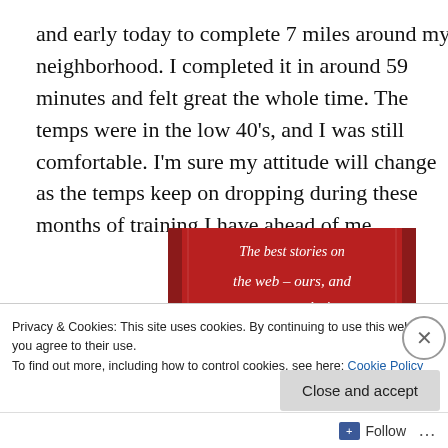and early today to complete 7 miles around my neighborhood. I completed it in around 59 minutes and felt great the whole time. The temps were in the low 40's, and I was still comfortable. I'm sure my attitude will change as the temps keep on dropping during these months of training I have ahead of me.
[Figure (screenshot): Red advertisement banner with white italic text reading 'The best stories on the web – ours, and everyone else's.' and a black 'Start reading' button]
Privacy & Cookies: This site uses cookies. By continuing to use this website, you agree to their use.
To find out more, including how to control cookies, see here: Cookie Policy
Close and accept
Follow